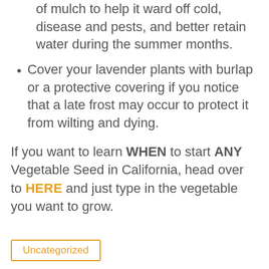of mulch to help it ward off cold, disease and pests, and better retain water during the summer months.
Cover your lavender plants with burlap or a protective covering if you notice that a late frost may occur to protect it from wilting and dying.
If you want to learn WHEN to start ANY Vegetable Seed in California, head over to HERE and just type in the vegetable you want to grow.
Uncategorized